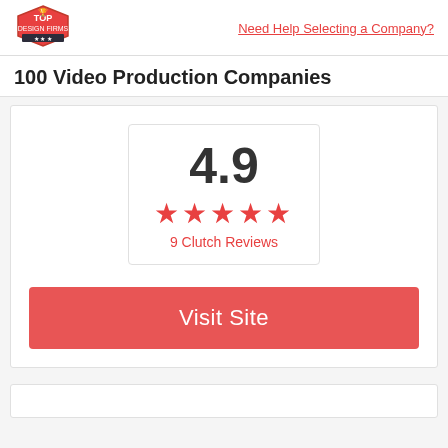Need Help Selecting a Company?
100 Video Production Companies
[Figure (infographic): Rating box showing 4.9 score with 5 red stars and '9 Clutch Reviews' label]
Visit Site